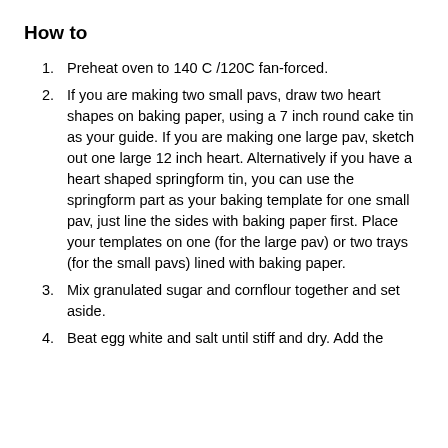How to
Preheat oven to 140 C /120C fan-forced.
If you are making two small pavs, draw two heart shapes on baking paper, using a 7 inch round cake tin as your guide. If you are making one large pav, sketch out one large 12 inch heart. Alternatively if you have a heart shaped springform tin, you can use the springform part as your baking template for one small pav, just line the sides with baking paper first. Place your templates on one (for the large pav) or two trays (for the small pavs) lined with baking paper.
Mix granulated sugar and cornflour together and set aside.
Beat egg white and salt until stiff and dry. Add the